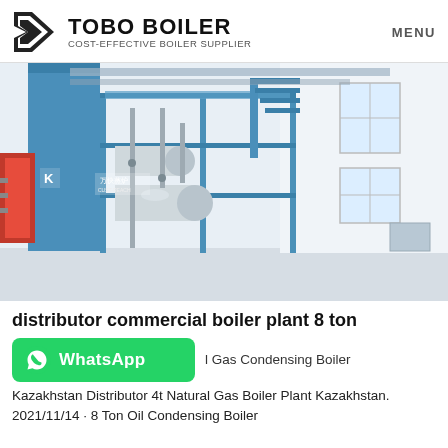TOBO BOILER — COST-EFFECTIVE BOILER SUPPLIER | MENU
[Figure (photo): Industrial boiler plant photo showing large horizontal blue and silver boilers in a clean white factory/installation room with blue steel support frames, piping, and a red burner unit on the left. Chinese manufacturer branding visible on the boiler body.]
distributor commercial boiler plant 8 ton
[Figure (logo): WhatsApp button — green rounded rectangle button with WhatsApp phone icon and 'WhatsApp' label in white bold text]
l Gas Condensing Boiler Kazakhstan Distributor 4t Natural Gas Boiler Plant Kazakhstan. 2021/11/14 · 8 Ton Oil Condensing Boiler